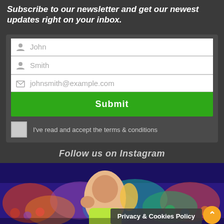Subscribe to our newsletter and get our newest updates right on your inbox.
[Figure (screenshot): Newsletter signup form with fields for John (first name), Smith (last name), johnsmith@example.com (email), a green Submit button, and a checkbox for terms & conditions]
Follow us on Instagram
[Figure (photo): Crowd photo at an event with a bald man celebrating in the foreground holding a trophy]
Privacy & Cookies Policy